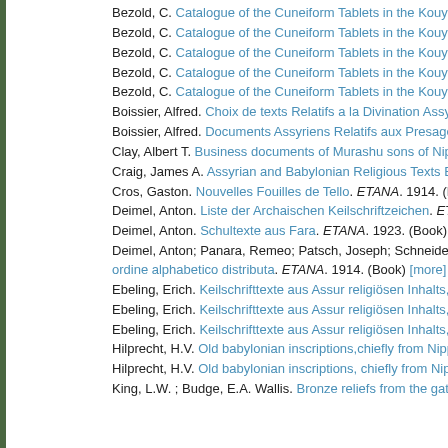Bezold, C. Catalogue of the Cuneiform Tablets in the Kouyunjik Collecti…
Bezold, C. Catalogue of the Cuneiform Tablets in the Kouyunjik Collecti…
Bezold, C. Catalogue of the Cuneiform Tablets in the Kouyunjik Collecti…
Bezold, C. Catalogue of the Cuneiform Tablets in the Kouyunjik Collecti…
Bezold, C. Catalogue of the Cuneiform Tablets in the Kouyunjik Collecti…
Boissier, Alfred. Choix de texts Relatifs a la Divination Assyro-Babylonie…
Boissier, Alfred. Documents Assyriens Relatifs aux Presages. ETANA. 19…
Clay, Albert T. Business documents of Murashu sons of Nippur dated in…
Craig, James A. Assyrian and Babylonian Religious Texts Being Prayers…
Cros, Gaston. Nouvelles Fouilles de Tello. ETANA. 1914. (Book) [more]
Deimel, Anton. Liste der Archaischen Keilschriftzeichen. ETANA. 1922. (…
Deimel, Anton. Schultexte aus Fara. ETANA. 1923. (Book) [more]
Deimel, Anton; Panara, Remeo; Patsch, Joseph; Schneider, Nicholaus. Pan… ordine alphabetico distributa. ETANA. 1914. (Book) [more]
Ebeling, Erich. Keilschrifttexte aus Assur religiösen Inhalts, Erster Band…
Ebeling, Erich. Keilschrifttexte aus Assur religiösen Inhalts, Viertes Heft…
Ebeling, Erich. Keilschrifttexte aus Assur religiösen Inhalts, Zweiter Ban…
Hilprecht, H.V. Old babylonian inscriptions,chiefly from Nippur , pt 1. Pla…
Hilprecht, H.V. Old babylonian inscriptions, chiefly from Nippur, part II P…
King, L.W. ; Budge, E.A. Wallis. Bronze reliefs from the gates of Shalman…